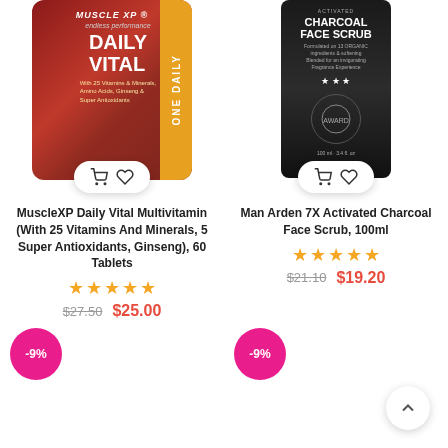[Figure (photo): MuscleXP Daily Vital Multivitamin product image with cart and wishlist buttons]
[Figure (photo): Man Arden 7X Activated Charcoal Face Scrub 100ml product image with cart and wishlist buttons]
MuscleXP Daily Vital Multivitamin (With 25 Vitamins And Minerals, 5 Super Antioxidants, Ginseng), 60 Tablets
Man Arden 7X Activated Charcoal Face Scrub, 100ml
★★★★★ (stars) $27.50  $25.00
★★★★★ (stars) $21.10  $19.20
-9%
-9%